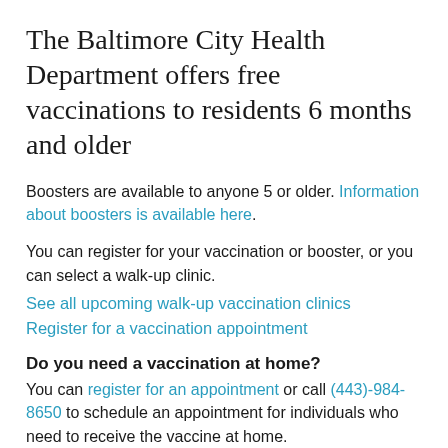The Baltimore City Health Department offers free vaccinations to residents 6 months and older
Boosters are available to anyone 5 or older. Information about boosters is available here.
You can register for your vaccination or booster, or you can select a walk-up clinic.
See all upcoming walk-up vaccination clinics
Register for a vaccination appointment
Do you need a vaccination at home?
You can register for an appointment or call (443)-984-8650 to schedule an appointment for individuals who need to receive the vaccine at home.